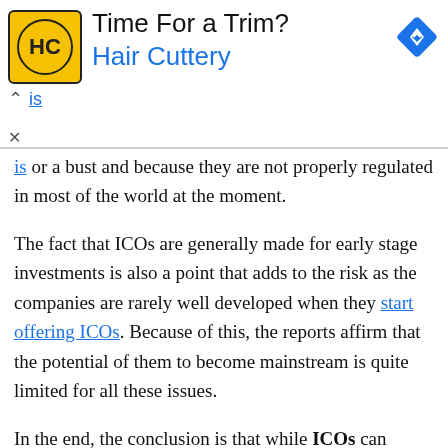[Figure (other): Hair Cuttery advertisement banner with logo, title 'Time For a Trim?', 'Hair Cuttery' subtitle in blue, and a blue navigation icon on the right. Below: chevron up arrow, partial link text 'is', and X button.]
is or a bust and because they are not properly regulated in most of the world at the moment.
The fact that ICOs are generally made for early stage investments is also a point that adds to the risk as the companies are rarely well developed when they start offering ICOs. Because of this, the reports affirm that the potential of them to become mainstream is quite limited for all these issues.
In the end, the conclusion is that while ICOs can become an efficient method for small and medium-sized companies to get access to capital early in the creation of their products, ICOs are hardly very mainstream and there are some problems that might